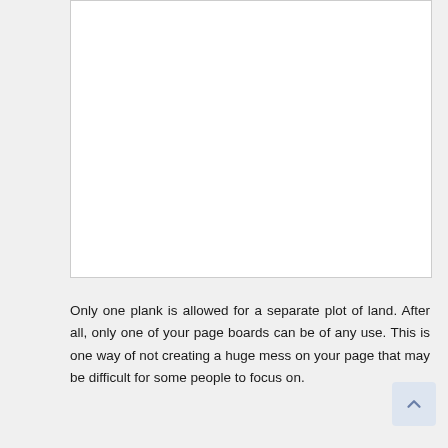[Figure (other): White blank rectangular box with a border, representing an empty content area or image placeholder.]
Only one plank is allowed for a separate plot of land. After all, only one of your page boards can be of any use. This is one way of not creating a huge mess on your page that may be difficult for some people to focus on.